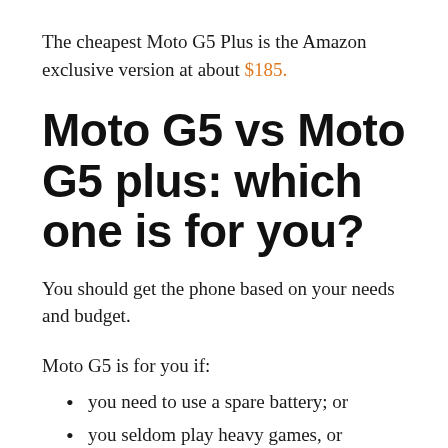The cheapest Moto G5 Plus is the Amazon exclusive version at about $185.
Moto G5 vs Moto G5 plus: which one is for you?
You should get the phone based on your needs and budget.
Moto G5 is for you if:
you need to use a spare battery; or
you seldom play heavy games, or
you just need a spare phone; or
you seldom take photos with your